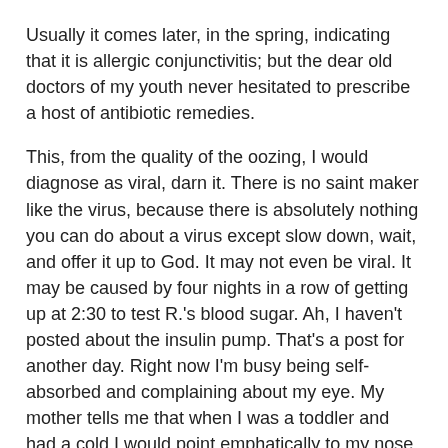Usually it comes later, in the spring, indicating that it is allergic conjunctivitis; but the dear old doctors of my youth never hesitated to prescribe a host of antibiotic remedies.
This, from the quality of the oozing, I would diagnose as viral, darn it. There is no saint maker like the virus, because there is absolutely nothing you can do about a virus except slow down, wait, and offer it up to God. It may not even be viral. It may be caused by four nights in a row of getting up at 2:30 to test R.'s blood sugar. Ah, I haven't posted about the insulin pump. That's a post for another day. Right now I'm busy being self-absorbed and complaining about my eye. My mother tells me that when I was a toddler and had a cold I would point emphatically to my nose and say, repeatedly, with increasing urgency, "My nose!" I still completely understand that. All I want to do right now is say, pettishly, over and over: "My eye!"
Also, every, absolutely every time this happens, I think of Elizabeth Blackwell, the first woman doctor in the U.S. I owned a Scholastic biography of her and for some reason